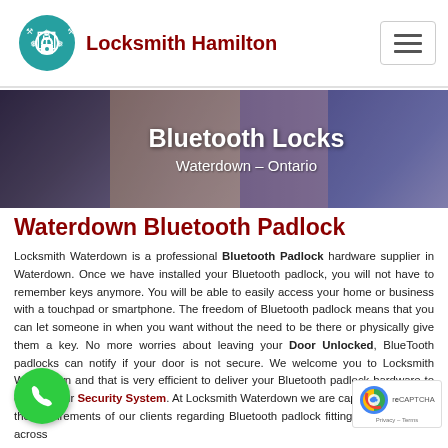Locksmith Hamilton
[Figure (screenshot): Hero banner with montage of hotel/smart lock images, text overlay 'Bluetooth Locks' and 'Waterdown - Ontario']
Waterdown Bluetooth Padlock
Locksmith Waterdown is a professional Bluetooth Padlock hardware supplier in Waterdown. Once we have installed your Bluetooth padlock, you will not have to remember keys anymore. You will be able to easily access your home or business with a touchpad or smartphone. The freedom of Bluetooth padlock means that you can let someone in when you want without the need to be there or physically give them a key. No more worries about leaving your Door Unlocked, BlueTooth padlocks can notify if your door is not secure. We welcome you to Locksmith Waterdown and that is very efficient to deliver your Bluetooth padlock hardware to ensure your Security System. At Locksmith Waterdown we are capable to meet all the requirements of our clients regarding Bluetooth padlock fitting and installation across